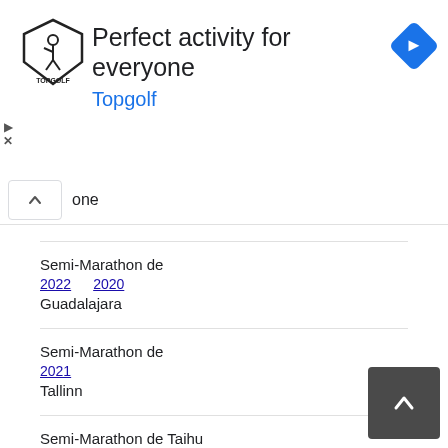[Figure (infographic): Topgolf advertisement banner with logo, text 'Perfect activity for everyone', subtitle 'Topgolf', and a blue navigation diamond icon]
one
Semi-Marathon de Guadalajara
2022  2020
Semi-Marathon de Tallinn
2021
Semi-Marathon de Taihu Lake
2021
Semi-Marathon de Lille
2022